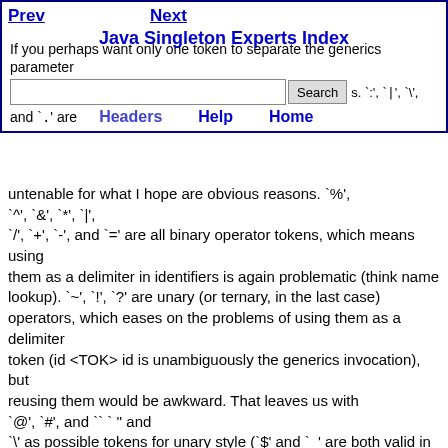Prev | Next | Java Singleton Experts Index | Search | Headers | Help | Home
If you perhaps want only one token to separate the generics parameter
untenable for what I hope are obvious reasons. `%', `^', `&', `*', `|',
`/', `+', `-', and `=' are all binary operator tokens, which means using
them as a delimiter in identifiers is again problematic (think name
lookup). `~', `!', `?' are unary (or ternary, in the last case)
operators, which eases on the problems of using them as a delimiter
token (id <TOK> id is unambiguously the generics invocation), but
reusing them would be awkward. That leaves us with `@', `#', and ``' and
`\' as possible tokens for unary style (`$' and `_' are both valid in
identifier names).

We can therefore reduce the syntax into one of six possible styles: